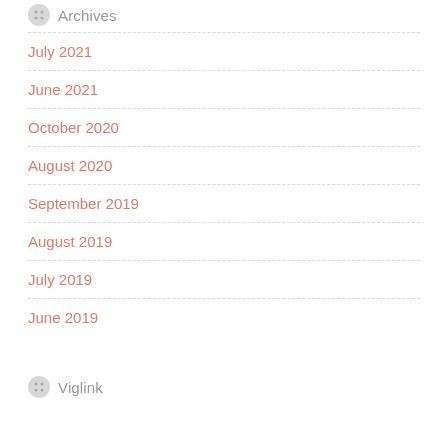Archives
July 2021
June 2021
October 2020
August 2020
September 2019
August 2019
July 2019
June 2019
Viglink